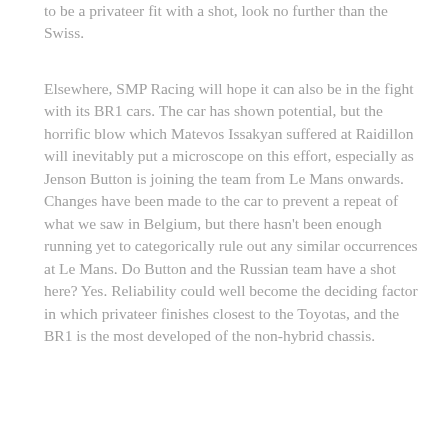to be a privateer fit with a shot, look no further than the Swiss.
Elsewhere, SMP Racing will hope it can also be in the fight with its BR1 cars. The car has shown potential, but the horrific blow which Matevos Issakyan suffered at Raidillon will inevitably put a microscope on this effort, especially as Jenson Button is joining the team from Le Mans onwards. Changes have been made to the car to prevent a repeat of what we saw in Belgium, but there hasn't been enough running yet to categorically rule out any similar occurrences at Le Mans. Do Button and the Russian team have a shot here? Yes. Reliability could well become the deciding factor in which privateer finishes closest to the Toyotas, and the BR1 is the most developed of the non-hybrid chassis.